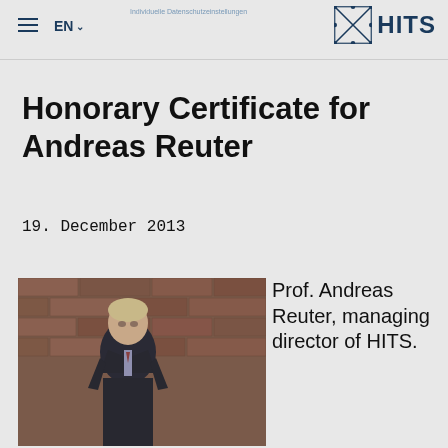≡  EN ∨  Individuelle Datenschutzeinstellungen  HITS
Honorary Certificate for Andreas Reuter
19. December 2013
[Figure (photo): Photo of Prof. Andreas Reuter standing in front of a brick wall, wearing a dark suit with a striped tie.]
Prof. Andreas Reuter, managing director of HITS.